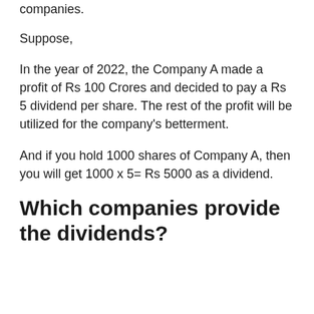companies.
Suppose,
In the year of 2022, the Company A made a profit of Rs 100 Crores and decided to pay a Rs 5 dividend per share. The rest of the profit will be utilized for the company's betterment.
And if you hold 1000 shares of Company A, then you will get 1000 x 5= Rs 5000 as a dividend.
Which companies provide the dividends?